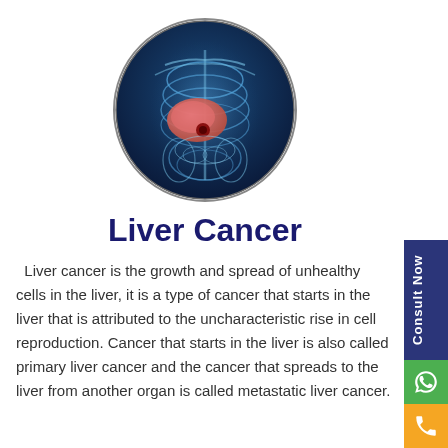[Figure (photo): Circular medical illustration of a human torso showing a highlighted liver (pink/orange) against an X-ray style blue background of the skeletal and organ structure]
Liver Cancer
Liver cancer is the growth and spread of unhealthy cells in the liver, it is a type of cancer that starts in the liver that is attributed to the uncharacteristic rise in cell reproduction. Cancer that starts in the liver is also called primary liver cancer and the cancer that spreads to the liver from another organ is called metastatic liver cancer.